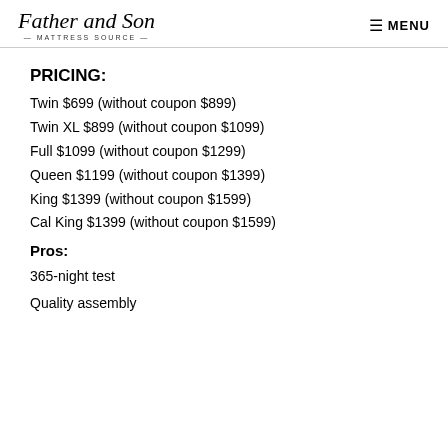Father and Son — MATTRESS SOURCE — MENU
PRICING:
Twin $699 (without coupon $899)
Twin XL $899 (without coupon $1099)
Full $1099 (without coupon $1299)
Queen $1199 (without coupon $1399)
King $1399 (without coupon $1599)
Cal King $1399 (without coupon $1599)
Pros:
365-night test
Quality assembly